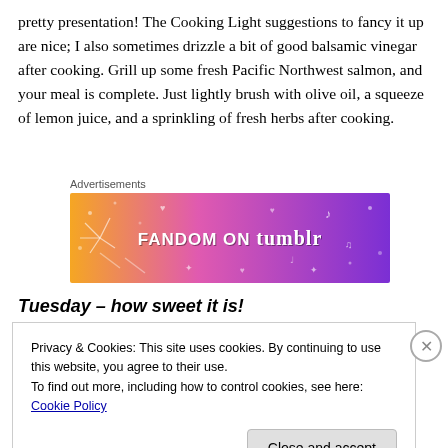pretty presentation! The Cooking Light suggestions to fancy it up are nice; I also sometimes drizzle a bit of good balsamic vinegar after cooking. Grill up some fresh Pacific Northwest salmon, and your meal is complete. Just lightly brush with olive oil, a squeeze of lemon juice, and a sprinkling of fresh herbs after cooking.
[Figure (other): Fandom on Tumblr advertisement banner with colorful orange-to-purple gradient background and decorative doodles]
Tuesday – how sweet it is!
Privacy & Cookies: This site uses cookies. By continuing to use this website, you agree to their use.
To find out more, including how to control cookies, see here: Cookie Policy
Close and accept